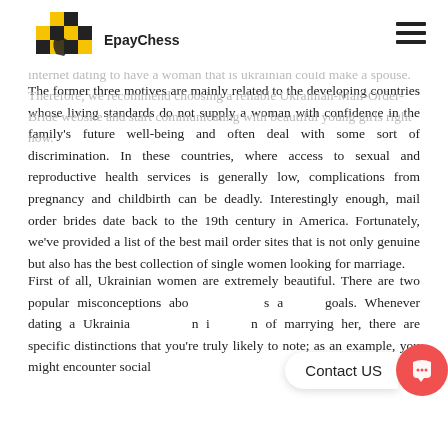EpayChess (logo with chess knight icon and hamburger menu)
against Women (CEDAW), address child marriage. No, it is not the woman that you pay for, but the services of the dating sites. Play out of your self and start to become available in the wonderful world of internet dating to have a woman that is ukrainian could make a spouse. Therefore, we recommend choosing a reliable Ukrainian-Mail-Order-Bride website and start communicating with beautiful young girls right now.
The former three motives are mainly related to the developing countries whose living standards do not supply a woman with confidence in the family's future well-being and often deal with some sort of discrimination. In these countries, where access to sexual and reproductive health services is generally low, complications from pregnancy and childbirth can be deadly. Interestingly enough, mail order brides date back to the 19th century in America. Fortunately, we've provided a list of the best mail order sites that is not only genuine but also has the best collection of single women looking for marriage.
First of all, Ukrainian women are extremely beautiful. There are two popular misconceptions abo... s a... goals. Whenever dating a Ukrainia... n i... n of marrying her, there are specific distinctions that you're truly likely to note; as an example, you might encounter social